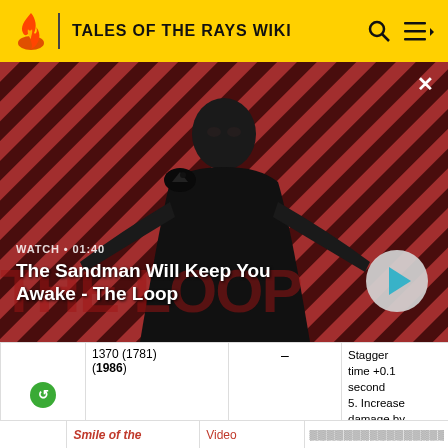TALES OF THE RAYS WIKI
[Figure (screenshot): Video thumbnail overlay showing a dark-cloaked figure with a raven on a red and black diagonal striped background. Text overlay reads 'WATCH • 01:40' and 'The Sandman Will Keep You Awake - The Loop' with a play button.]
| [green icon] | 1370 (1781) (1986) | - | Stagger time +0.1 second
5. Increase damage by 10% |
Smile of the
Video
############